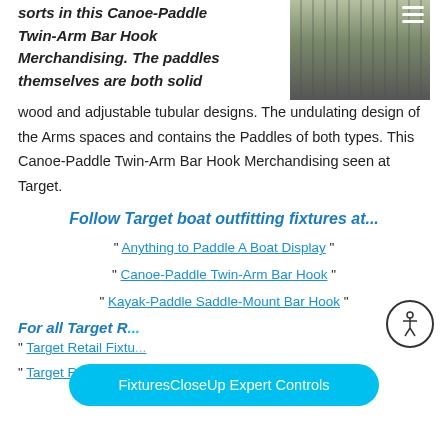sorts in this Canoe-Paddle Twin-Arm Bar Hook Merchandising. The paddles themselves are both solid wood and adjustable tubular designs. The undulating design of the Arms spaces and contains the Paddles of both types. This Canoe-Paddle Twin-Arm Bar Hook Merchandising seen at Target.
[Figure (photo): Photo of canoe paddles displayed on retail rack, with yellow and orange/green paddle shafts visible. Hamburger menu icon in top right corner.]
Follow Target boat outfitting fixtures at...
" Anything to Paddle A Boat Display "
" Canoe-Paddle Twin-Arm Bar Hook "
" Kayak-Paddle Saddle-Mount Bar Hook "
For all Target R...
" Target Retail Fixtu...
" Target Retail Fixtures homepage " for all...